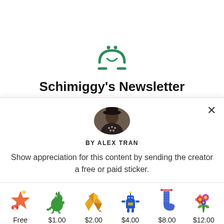[Figure (logo): Substack green smiley face logo icon]
Schimiggy's Newsletter
Get the latest in activewear reviews,
[Figure (photo): Circular profile photo of Alex Tran wearing a hat]
BY ALEX TRAN
Show appreciation for this content by sending the creator a free or paid sticker.
[Figure (illustration): Six sticker options with prices: Free (star/fireworks emoji sticker), $1.00 (green dinosaur), $2.00 (gold origami crane), $4.00 (blue robot), $8.00 (blue knitted sock), $12.00 (flower bouquet)]